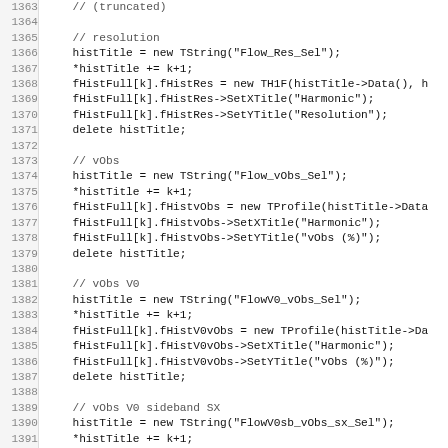[Figure (screenshot): Source code listing in monospace font showing C++ code lines 1363-1395, with line numbers on the left. The code creates histogram titles and objects for flow resolution and vObs measurements.]